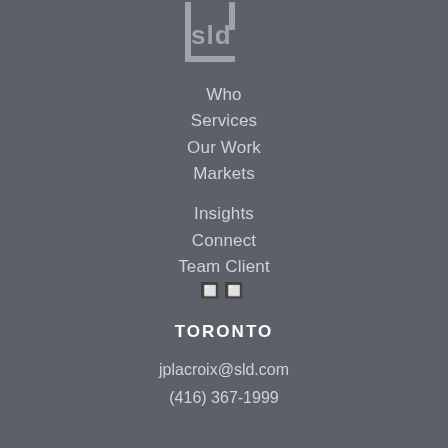[Figure (logo): SLD logo — stylized bracket with 'sld' text in gray on gray background]
Who
Services
Our Work
Markets
Insights
Connect
Team Client
🔲🔲
TORONTO
jplacroix@sld.com
(416) 367-1999